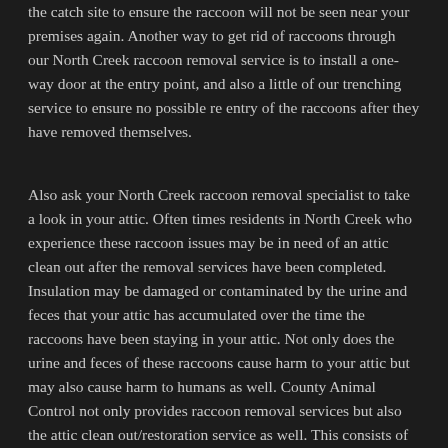the catch site to ensure the raccoon will not be seen near your premises again. Another way to get rid of raccoons through our North Creek raccoon removal service is to install a one-way door at the entry point, and also a little of our trenching service to ensure no possible re entry of the raccoons after they have removed themselves.
Also ask your North Creek raccoon removal specialist to take a look in your attic. Often times residents in North Creek who experience these raccoon issues may be in need of an attic clean out after the removal services have been completed. Insulation may be damaged or contaminated by the urine and feces that your attic has accumulated over the time the raccoons have been staying in your attic. Not only does the urine and feces of these raccoons cause harm to your attic but may also cause harm to humans as well. County Animal Control not only provides raccoon removal services but also the attic clean out/restoration service as well. This consists of removing all damaged and contaminated insulation/objects, deodorizing and disinfecting, and pumping brand new insulation back into the attic.